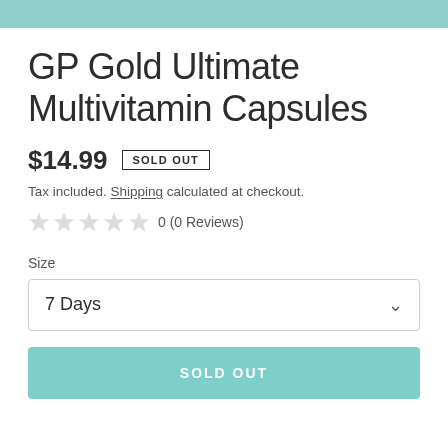GP Gold Ultimate Multivitamin Capsules
$14.99  SOLD OUT
Tax included. Shipping calculated at checkout.
0 (0 Reviews)
Size
7 Days
SOLD OUT